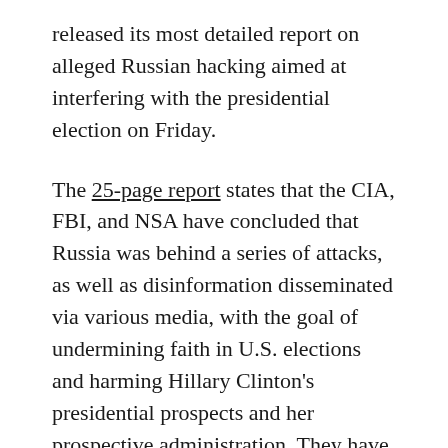released its most detailed report on alleged Russian hacking aimed at interfering with the presidential election on Friday.
The 25-page report states that the CIA, FBI, and NSA have concluded that Russia was behind a series of attacks, as well as disinformation disseminated via various media, with the goal of undermining faith in U.S. elections and harming Hillary Clinton's presidential prospects and her prospective administration. They have concluded, however, that there was no meddling in vote tallying.